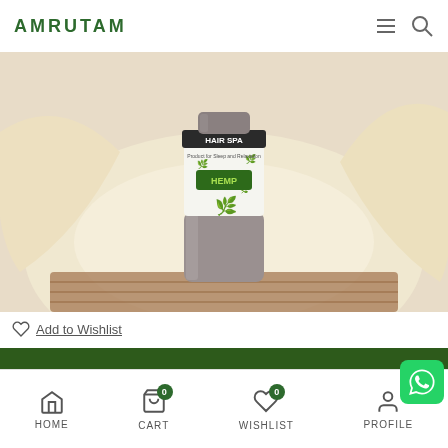AMRUTAM
[Figure (photo): Hair Spa product bottle with hemp leaf design placed in a wicker basket with coconut halves background]
Add to Wishlist
ADD TO CART
HOME   CART 0   WISHLIST 0   PROFILE